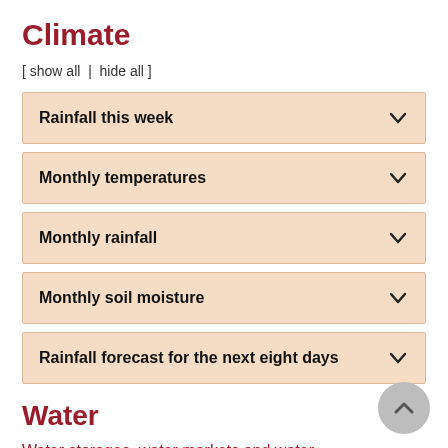Climate
[ show all  |  hide all ]
Rainfall this week
Monthly temperatures
Monthly rainfall
Monthly soil moisture
Rainfall forecast for the next eight days
Water
Water storages, water markets and water allocations - current week